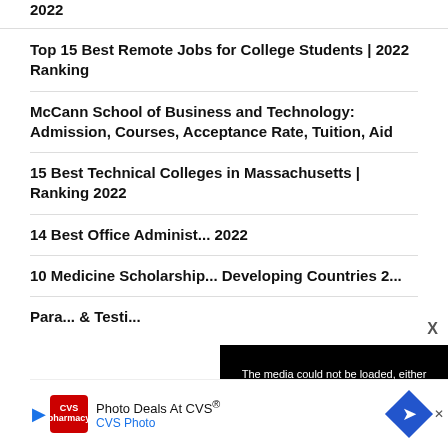2022
Top 15 Best Remote Jobs for College Students | 2022 Ranking
McCann School of Business and Technology: Admission, Courses, Acceptance Rate, Tuition, Aid
15 Best Technical Colleges in Massachusetts | Ranking 2022
14 Best Office Administration Degree Programs in USA 2022
10 Medicine Scholarships for Students from Developing Countries 2...
Para... & Testi...
[Figure (screenshot): Media error overlay: black box with white text reading 'The media could not be loaded, either because the server or network failed or because the format is not supported.' with a large X mark.]
[Figure (screenshot): CVS Photo advertisement banner: Photo Deals At CVS® with CVS Photo logo and navigation arrow icon.]